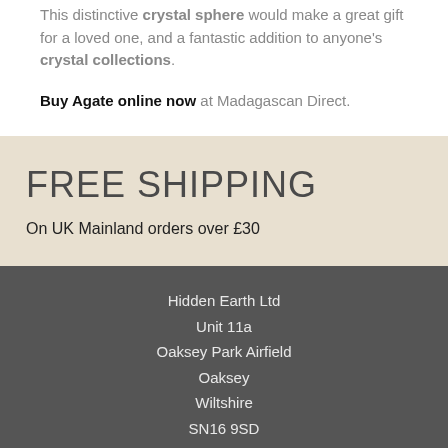This distinctive crystal sphere would make a great gift for a loved one, and a fantastic addition to anyone's crystal collections.
Buy Agate online now at Madagascan Direct.
FREE SHIPPING
On UK Mainland orders over £30
Hidden Earth Ltd
Unit 11a
Oaksey Park Airfield
Oaksey
Wiltshire
SN16 9SD
United Kingdom